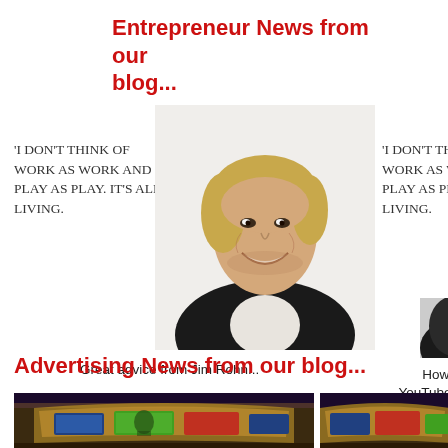Entrepreneur News from our blog...
[Figure (photo): Smiling blond man (Richard Branson-style) in dark blazer, white shirt, white background]
'I don't think of work as work and play as play. It's all living.
Great advice from Jim Rohn...
'I don't think of work as work and play as play. It's all living.
[Figure (photo): Partially visible person photo on right side, cut off]
How to gr... YouTube vide... #V
Advertising News from our blog...
[Figure (photo): Night cityscape with large curved billboard/advertising display on building]
[Figure (photo): Partially visible night cityscape with advertising display, cut off on right edge]